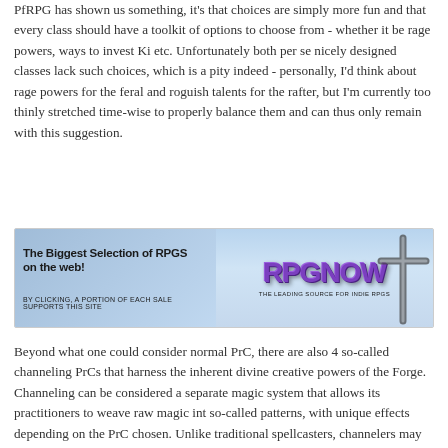PfRPG has shown us something, it's that choices are simply more fun and that every class should have a toolkit of options to choose from - whether it be rage powers, ways to invest Ki etc. Unfortunately both per se nicely designed classes lack such choices, which is a pity indeed - personally, I'd think about rage powers for the feral and roguish talents for the rafter, but I'm currently too thinly stretched time-wise to properly balance them and can thus only remain with this suggestion.
[Figure (other): RPGNow advertisement banner. Left side: 'The Biggest Selection of RPGS on the web!' with small text 'BY CLICKING, A PORTION OF EACH SALE SUPPORTS THIS SITE'. Right side: 'RPGNOW' logo in purple/3D text with tagline 'THE LEADING SOURCE FOR INDIE RPGS'. Background is blue gradient with a decorative cross/weapon on the right.]
Beyond what one could consider normal PrC, there are also 4 so-called channeling PrCs that harness the inherent divine creative powers of the Forge. Channeling can be considered a separate magic system that allows its practitioners to weave raw magic int so-called patterns, with unique effects depending on the PrC chosen. Unlike traditional spellcasters, channelers may weave multiple patterns in rapid succession, enhance patterns by spending more energy on them